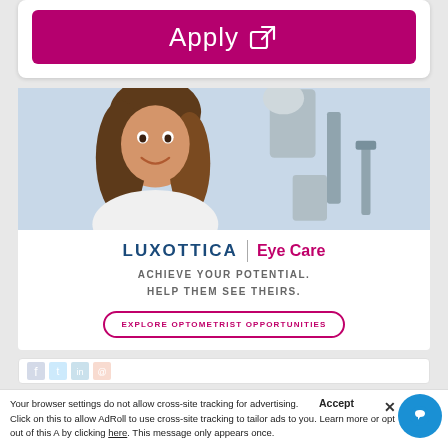[Figure (other): Pink/magenta Apply button with external link icon]
[Figure (photo): Woman smiling in an optometry clinic with eye care equipment in background]
[Figure (logo): Luxottica Eye Care logo with brand name in dark blue and Eye Care in magenta]
ACHIEVE YOUR POTENTIAL.
HELP THEM SEE THEIRS.
EXPLORE OPTOMETRIST OPPORTUNITIES
Accept
Your browser settings do not allow cross-site tracking for advertising. Click on this to allow AdRoll to use cross-site tracking to tailor ads to you. Learn more or opt out of this A by clicking here. This message only appears once.